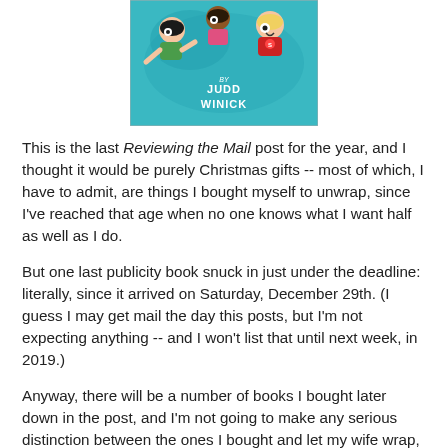[Figure (illustration): Book cover illustration showing cartoon children falling/tumbling, with text 'BY JUDD WINICK' on a teal/blue background.]
This is the last Reviewing the Mail post for the year, and I thought it would be purely Christmas gifts -- most of which, I have to admit, are things I bought myself to unwrap, since I've reached that age when no one knows what I want half as well as I do.
But one last publicity book snuck in just under the deadline: literally, since it arrived on Saturday, December 29th. (I guess I may get mail the day this posts, but I'm not expecting anything -- and I won't list that until next week, in 2019.)
Anyway, there will be a number of books I bought later down in the post, and I'm not going to make any serious distinction between the ones I bought and let my wife wrap, the ones other members of my family bought from my wish list, and the ones I bought and just took away. But, first, comes that